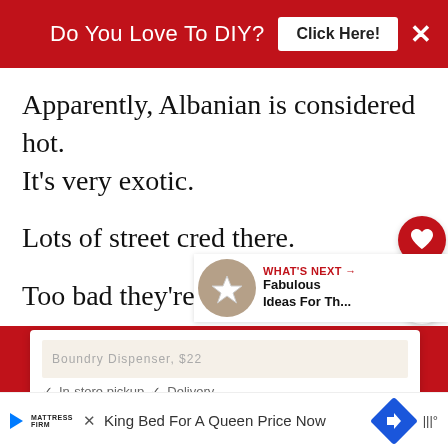[Figure (screenshot): Red banner advertisement: 'Do You Love To DIY? Click Here!' with a white X close button on the right]
Apparently, Albanian is considered hot. It's very exotic.
Lots of street cred there.
Too bad they're American.
[Figure (screenshot): Bottom section showing 'WHAT'S NEXT → Fabulous Ideas For Th...' panel, a red footer area with an overlapping white ad card showing 'Boundry Dispenser, $22', in-store pickup and delivery options, and a Mattress Firm banner ad at the bottom reading 'King Bed For A Queen Price Now']